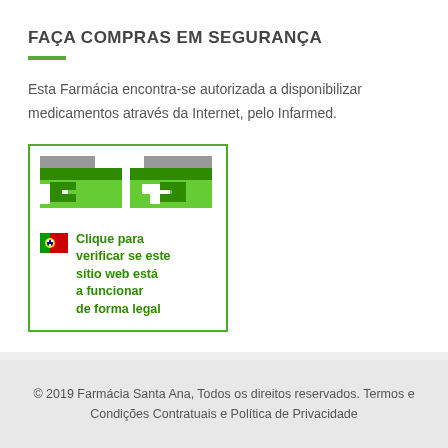FAÇA COMPRAS EM SEGURANÇA
Esta Farmácia encontra-se autorizada a disponibilizar medicamentos através da Internet, pelo Infarmed.
[Figure (logo): Infarmed EU common logo badge for verified online pharmacy with Portuguese flag and text: Clique para verificar se este sítio web está a funcionar de forma legal]
© 2019 Farmácia Santa Ana, Todos os direitos reservados. Termos e Condições Contratuais e Política de Privacidade